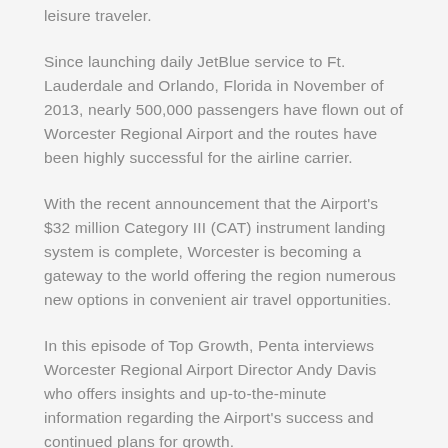leisure traveler.
Since launching daily JetBlue service to Ft. Lauderdale and Orlando, Florida in November of 2013, nearly 500,000 passengers have flown out of Worcester Regional Airport and the routes have been highly successful for the airline carrier.
With the recent announcement that the Airport's $32 million Category III (CAT) instrument landing system is complete, Worcester is becoming a gateway to the world offering the region numerous new options in convenient air travel opportunities.
In this episode of Top Growth, Penta interviews Worcester Regional Airport Director Andy Davis who offers insights and up-to-the-minute information regarding the Airport's success and continued plans for growth.
In this interview, Top Growth TV host Deborah Penta talks with Davis about how the Airport's success under Massport's